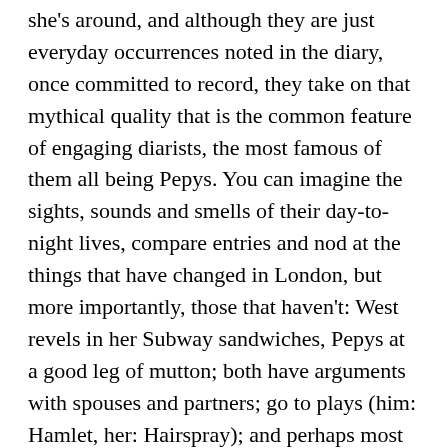she's around, and although they are just everyday occurrences noted in the diary, once committed to record, they take on that mythical quality that is the common feature of engaging diarists, the most famous of them all being Pepys. You can imagine the sights, sounds and smells of their day-to-night lives, compare entries and nod at the things that have changed in London, but more importantly, those that haven't: West revels in her Subway sandwiches, Pepys at a good leg of mutton; both have arguments with spouses and partners; go to plays (him: Hamlet, her: Hairspray); and perhaps most amusingly, a night of excessive drinking feels just as terrible in the 2000s as it did in the 1660s.
The everyday things that fit in-between the poles of DJing and drinking for the author range from going to